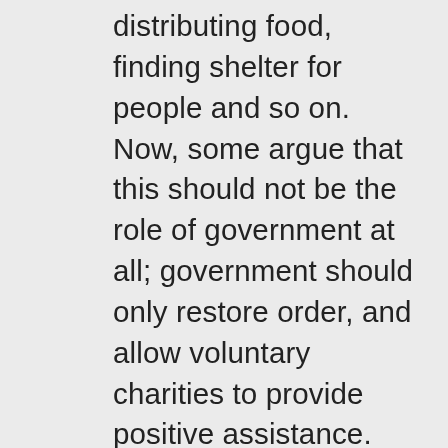distributing food, finding shelter for people and so on. Now, some argue that this should not be the role of government at all; government should only restore order, and allow voluntary charities to provide positive assistance. Again, the argument is that if people rely on the government to feed and shelter them after a hurricane or other disaster, they become dependent on the government; and since